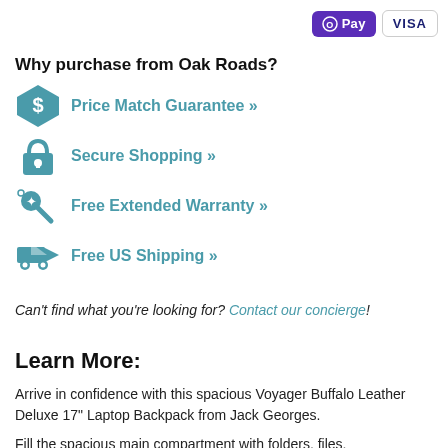[Figure (logo): Apple Pay and Visa payment icons in top right corner]
Why purchase from Oak Roads?
Price Match Guarantee »
Secure Shopping »
Free Extended Warranty »
Free US Shipping »
Can't find what you're looking for? Contact our concierge!
Learn More:
Arrive in confidence with this spacious Voyager Buffalo Leather Deluxe 17" Laptop Backpack from Jack Georges.
Fill the spacious main compartment with folders, files,